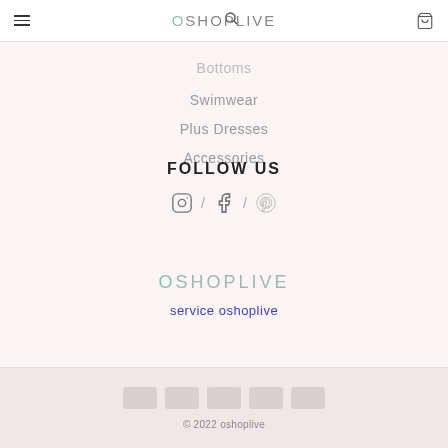OSHOPLIVE
Bottoms
Swimwear
Plus Dresses
Accessories
FOLLOW US
[Figure (infographic): Social media icons: Instagram, Facebook, Pinterest separated by slashes]
[Figure (logo): OSHOPLIVE logo in muted teal/grey color]
service oshoplive
[Figure (infographic): Five payment method icon placeholders (grey rectangles)]
© 2022 oshoplive